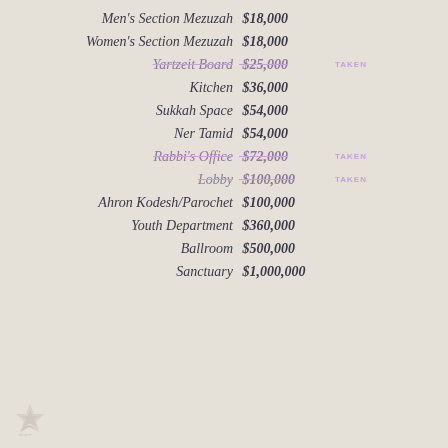Men's Section Mezuzah  $18,000
Women's Section Mezuzah  $18,000
Yartzeit Board  $25,000  TAKEN
Kitchen  $36,000
Sukkah Space  $54,000
Ner Tamid  $54,000
Rabbi's Office  $72,000  TAKEN
Lobby  $100,000  TAKEN
Ahron Kodesh/Parochet  $100,000
Youth Department  $360,000
Ballroom  $500,000
Sanctuary  $1,000,000
[Figure (logo): Organization logo with star and text WKC or similar]